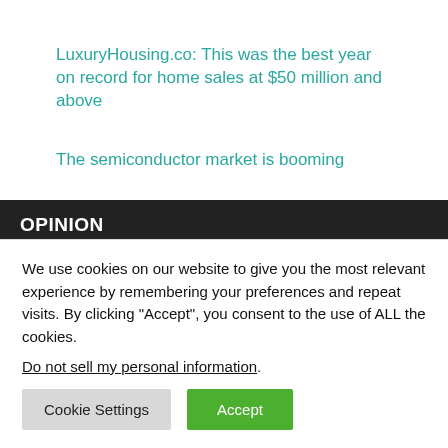LuxuryHousing.co: This was the best year on record for home sales at $50 million and above
The semiconductor market is booming
OPINION
Women's Tennis Association pulls out of China
We use cookies on our website to give you the most relevant experience by remembering your preferences and repeat visits. By clicking “Accept”, you consent to the use of ALL the cookies.
Do not sell my personal information.